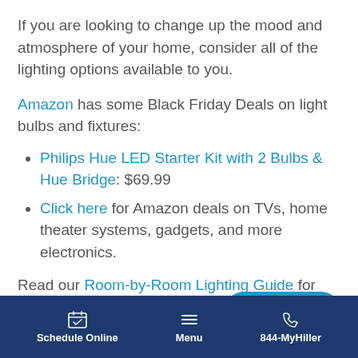If you are looking to change up the mood and atmosphere of your home, consider all of the lighting options available to you.
Amazon has some Black Friday Deals on light bulbs and fixtures:
Philips Hue LED Starter Kit with 2 Bulbs & Hue Bridge: $69.99
Click here for Amazon deals on TVs, home theater systems, gadgets, and more electronics.
Read our Room-by-Room Lighting Guide for tips on lighting fixtures and placement.
Plumbing Gift Ideas:
Schedule Online   Menu   844-MyHiller